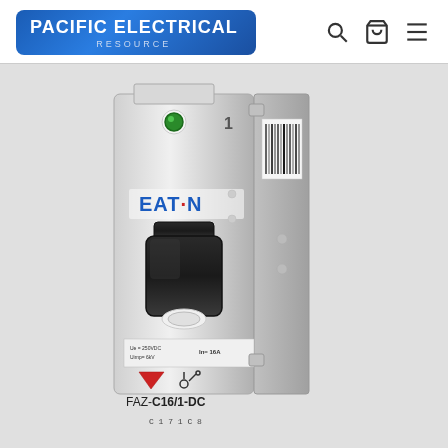PACIFIC ELECTRICAL RESOURCE
[Figure (photo): Eaton FAZ-C16/1-DC single-pole DC miniature circuit breaker, white plastic housing with black toggle handle, green indicator light, red trip indicator arrow, and barcode label on side. Model label reads FAZ-C16/1-DC with In=16A rating.]